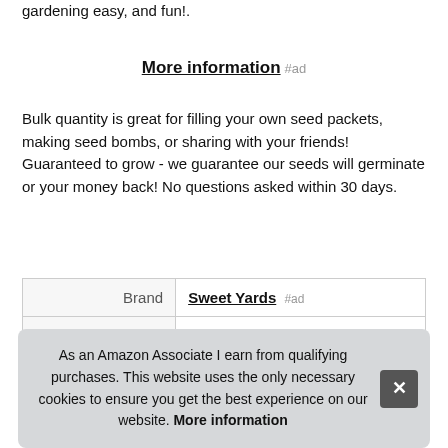gardening easy, and fun!.
More information #ad
Bulk quantity is great for filling your own seed packets, making seed bombs, or sharing with your friends! Guaranteed to grow - we guarantee our seeds will germinate or your money back! No questions asked within 30 days.
|  |  |
| --- | --- |
| Brand | Sweet Yards #ad |
| Manufacturer | Sweet Yards Seed Co. #ad |
As an Amazon Associate I earn from qualifying purchases. This website uses the only necessary cookies to ensure you get the best experience on our website. More information